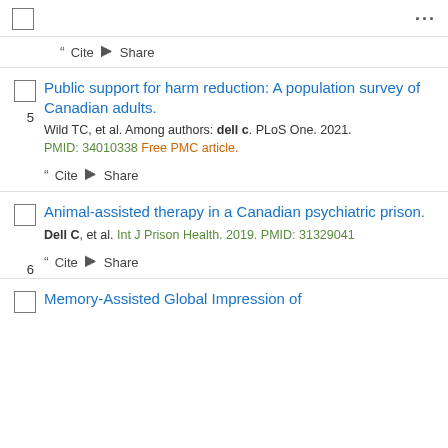... (menu dots)
" Cite < Share
5. Public support for harm reduction: A population survey of Canadian adults. Wild TC, et al. Among authors: dell c. PLoS One. 2021. PMID: 34010338 Free PMC article.
" Cite < Share
6. Animal-assisted therapy in a Canadian psychiatric prison. Dell C, et al. Int J Prison Health. 2019. PMID: 31329041
" Cite < Share
Memory-Assisted Global Impression of